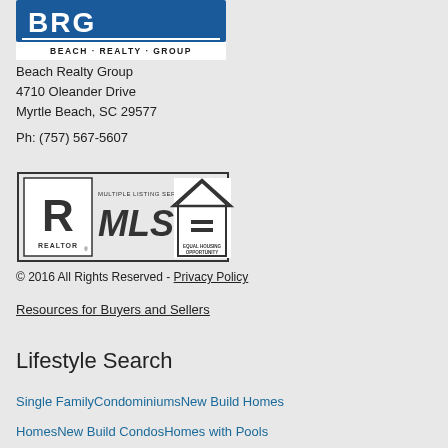[Figure (logo): Beach Realty Group logo with BRG letters and text BEACH · REALTY · GROUP]
Beach Realty Group
4710 Oleander Drive
Myrtle Beach, SC 29577
Ph: (757) 567-5607
[Figure (logo): REALTOR MLS Multiple Listing Service and Equal Housing Opportunity badges]
© 2016 All Rights Reserved - Privacy Policy
Resources for Buyers and Sellers
Lifestyle Search
Single Family
Condominiums
New Build Homes
Homes
New Build Condos
Homes with Pools